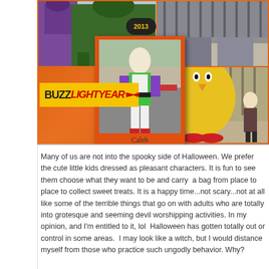[Figure (photo): Halloween photo collage on orange background. Center polaroid-style photo of a child in a Buzz Lightyear costume labeled 'Caleb'. Top left photo shows people in dinosaur and purple costumes. Top right shows someone in gray shoes/costume. Bottom right shows a yellow Big Bird costume and a child. A '2013' badge appears near the top center. A 'BUZZ LIGHTYEAR' banner logo in yellow and red is overlaid on the left side.]
Many of us are not into the spooky side of Halloween. We prefer the cute little kids dressed as pleasant characters. It is fun to see them choose what they want to be and carry  a bag from place to place to collect sweet treats. It is a happy time...not scary...not at all like some of the terrible things that go on with adults who are totally into grotesque and seeming devil worshipping activities. In my opinion, and I'm entitled to it, lol  Halloween has gotten totally out or control in some areas.  I may look like a witch, but I would distance myself from those who practice such ungodly behavior. Why?